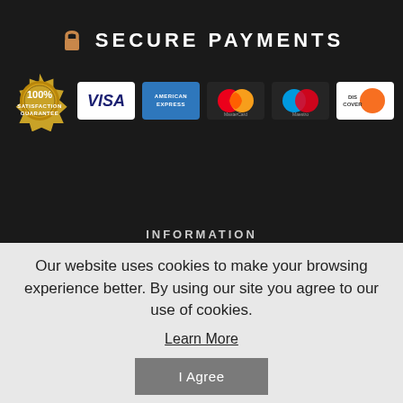SECURE PAYMENTS
[Figure (infographic): Secure payments section showing a 100% satisfaction guarantee gold badge and five payment method logos: Visa, American Express, MasterCard, Maestro, and Discover]
INFORMATION
Our website uses cookies to make your browsing experience better. By using our site you agree to our use of cookies.
Learn More
I Agree